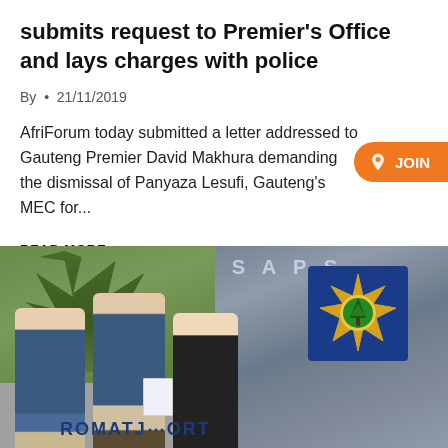submits request to Premier's Office and lays charges with police
By  •  21/11/2019
AfriForum today submitted a letter addressed to Gauteng Premier David Makhura demanding the dismissal of Panyaza Lesufi, Gauteng's MEC for...
READ MORE →
[Figure (photo): Three people standing in front of a SAPS (South African Police Service) station wall. Two men in blue shirts and a woman in black top, one man holding a document. The stone wall has the SAPS emblem/badge and text partially visible reading SAPS and what appears to be a station name at the bottom.]